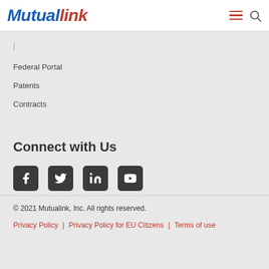[Figure (logo): Mutualink logo with 'Mutual' in blue italic bold and 'link' in red italic bold]
Federal Portal
Patents
Contracts
Connect with Us
[Figure (infographic): Social media icons: Facebook, Twitter, LinkedIn, YouTube]
© 2021 Mutualink, Inc. All rights reserved.
Privacy Policy | Privacy Policy for EU Citizens | Terms of use